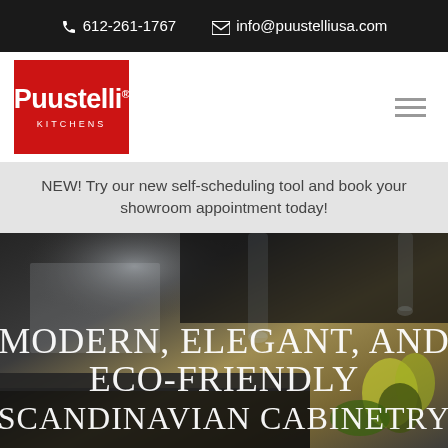📞 612-261-1767   ✉ info@puustelliusa.com
[Figure (logo): Puustelli Kitchens logo — white text on red background square]
NEW! Try our new self-scheduling tool and book your showroom appointment today!
[Figure (photo): Modern dark Scandinavian kitchen with black cabinetry, pendant lights, and yellow orchid flowers. Overlay text: MODERN, ELEGANT, AND ECO-FRIENDLY SCANDINAVIAN CABINETRY]
MODERN, ELEGANT, AND ECO-FRIENDLY SCANDINAVIAN CABINETRY